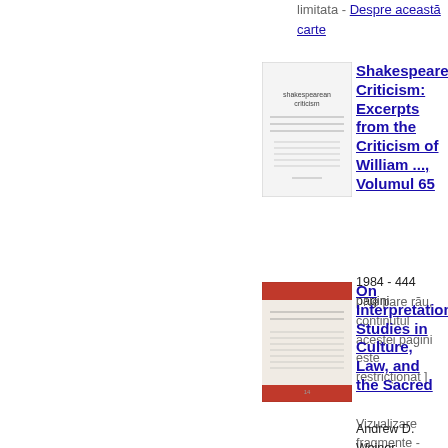limitata - Despre această carte
[Figure (photo): Book cover of Shakespearean Criticism Volume 65]
Shakespearean Criticism: Excerpts from the Criticism of William ..., Volumul 65
1984 - 444 pagini
[ Ne pare rău, conținutul acestei pagini este restricționat ]
Vizualizare fragmente - Despre această carte
[Figure (photo): Book cover of On Interpretation: Studies in Culture, Law, and the Sacred]
On Interpretation: Studies in Culture, Law, and the Sacred
Andrew D. Weiner, Leonard V. Kaplan - 2002 - 296 pagini